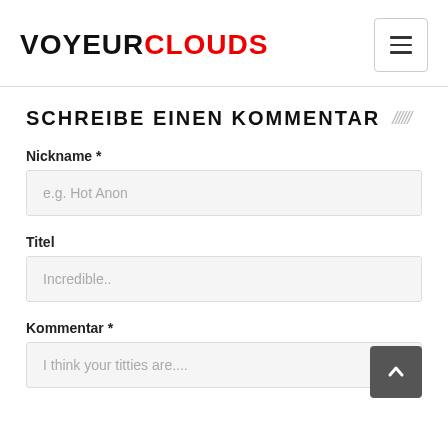VOYEURCLOUDS
SCHREIBE EINEN KOMMENTAR
Nickname *
e.g. Hot Anon
Titel
Incredible..
Kommentar *
I think your titties are....